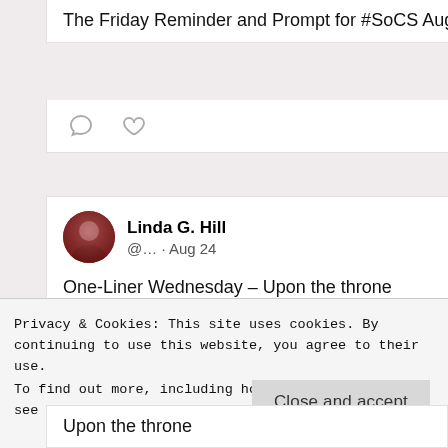The Friday Reminder and Prompt for #SoCS Aug. …
[Figure (illustration): Comment and heart/like icons for tweet interaction]
Linda G. Hill @… · Aug 24
One-Liner Wednesday – Upon the throne
lindaghill.com/2022/08/24/one…
[Figure (photo): Dark green foliage/garden photograph]
Privacy & Cookies: This site uses cookies. By continuing to use this website, you agree to their use.
To find out more, including how to control cookies, see here: Cookie Policy
Close and accept
Upon the throne